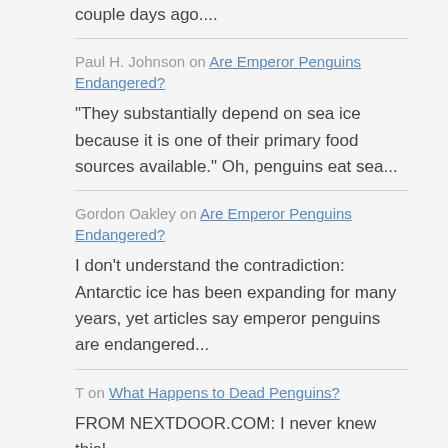couple days ago....
Paul H. Johnson on Are Emperor Penguins Endangered?
"They substantially depend on sea ice because it is one of their primary food sources available." Oh, penguins eat sea...
Gordon Oakley on Are Emperor Penguins Endangered?
I don’t understand the contradiction: Antarctic ice has been expanding for many years, yet articles say emperor penguins are endangered...
T on What Happens to Dead Penguins?
FROM NEXTDOOR.COM: I never knew this!